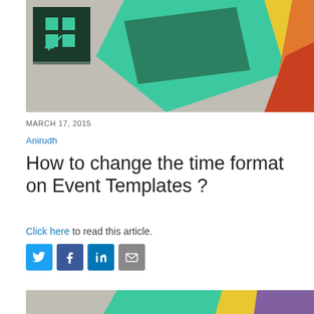[Figure (photo): Colorful geometric 3D paper art with dark green logo box in top-left corner, featuring teal, yellow, orange, and red angular shapes on a beige background.]
MARCH 17, 2015
Anirudh
How to change the time format on Event Templates ?
Click here to read this article.
[Figure (other): Social share buttons: Twitter (blue), Facebook (dark blue), LinkedIn (blue), Email (gray)]
[Figure (photo): Bottom portion of colorful geometric 3D paper art with teal, purple, yellow, and beige angular shapes.]